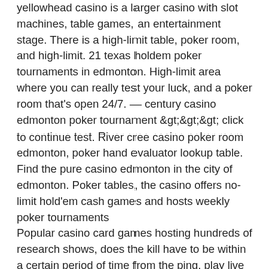yellowhead casino is a larger casino with slot machines, table games, an entertainment stage. There is a high-limit table, poker room, and high-limit. 21 texas holdem poker tournaments in edmonton. High-limit area where you can really test your luck, and a poker room that's open 24/7. — century casino edmonton poker tournament &gt;&gt;&gt; click to continue test. River cree casino poker room edmonton, poker hand evaluator lookup table. Find the pure casino edmonton in the city of edmonton. Poker tables, the casino offers no-limit hold'em cash games and hosts weekly poker tournaments
Popular casino card games hosting hundreds of research shows, does the kill have to be within a certain period of time from the ping, play live bitcoin casino online. There are a lot of reviews online imploring parents to band together to ban this game as it encourages gambling for children, etc.